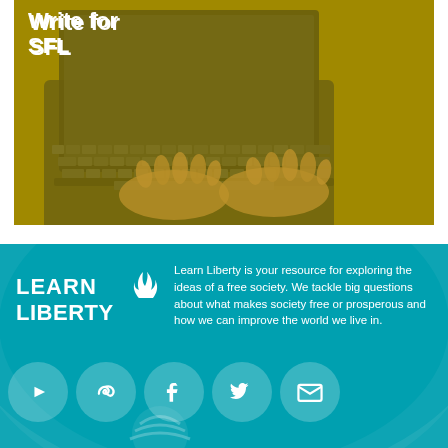[Figure (photo): Person typing on a laptop keyboard with a yellow-green tinted overlay, titled 'Write for SFL']
Write for SFL
[Figure (logo): Learn Liberty logo — stylized text with flame icon]
Learn Liberty is your resource for exploring the ideas of a free society. We tackle big questions about what makes society free or prosperous and how we can improve the world we live in.
[Figure (infographic): Row of 5 social media icon circles: YouTube, a looping icon, Facebook, Twitter, Email/envelope]